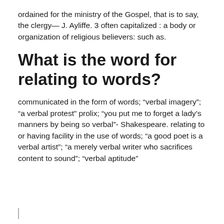ordained for the ministry of the Gospel, that is to say, the clergy— J. Ayliffe. 3 often capitalized : a body or organization of religious believers: such as.
What is the word for relating to words?
communicated in the form of words; “verbal imagery”; “a verbal protest” prolix; “you put me to forget a lady’s manners by being so verbal”- Shakespeare. relating to or having facility in the use of words; “a good poet is a verbal artist”; “a merely verbal writer who sacrifices content to sound”; “verbal aptitude”